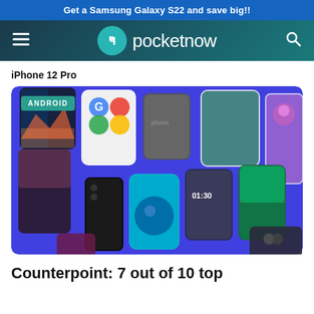Get a Samsung Galaxy S22 and save big!!
[Figure (logo): Pocketnow website navigation bar with hamburger menu, pocketnow logo (teal circle with P icon and pocketnow text in white), and search icon]
iPhone 12 Pro
[Figure (photo): Collection of Android smartphones arranged on a purple/blue background with an ANDROID category tag overlay]
Counterpoint: 7 out of 10 top